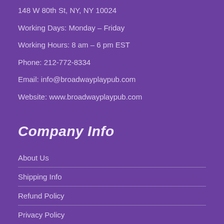148 W 80th St, NY, NY 10024
Working Days: Monday – Friday
Working Hours: 8 am – 6 pm EST
Phone: 212-772-8334
Email: info@broadwayplaypub.com
Website: www.broadwayplaypub.com
Company Info
About Us
Shipping Info
Refund Policy
Privacy Policy
Submissions